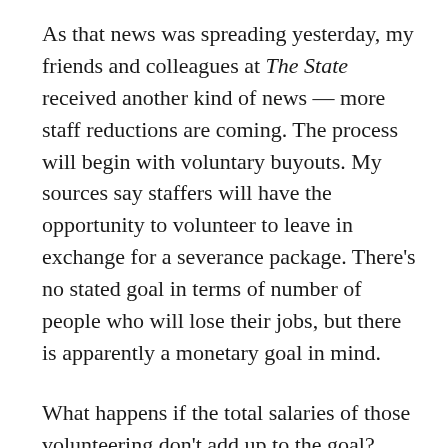As that news was spreading yesterday, my friends and colleagues at The State received another kind of news — more staff reductions are coming. The process will begin with voluntary buyouts. My sources say staffers will have the opportunity to volunteer to leave in exchange for a severance package. There's no stated goal in terms of number of people who will lose their jobs, but there is apparently a monetary goal in mind.
What happens if the total salaries of those volunteering don't add up to the goal? That apparently has not been stated. But we know what has happened in the past. I was laid off in one of several waves over the last few years.
I'm very sorry to hear this on a number of levels. I care not only because The State continues to be my newspaper, but because South Carolina desperately needs a vital, vibrant, dynamic capital city newspaper. Here's hoping the reductions will be minimal.